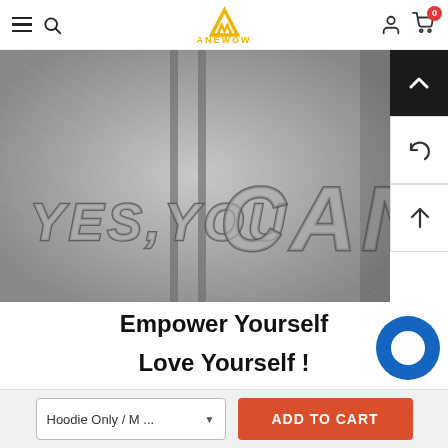ANEWOW — navigation header with hamburger menu, search, logo, user icon, cart (0)
[Figure (photo): Close-up photo of a grey hoodie with embossed text reading 'YES, YOU CAN']
Empower Yourself
Love Yourself !
Hoodie Only / M ...
ADD TO CART